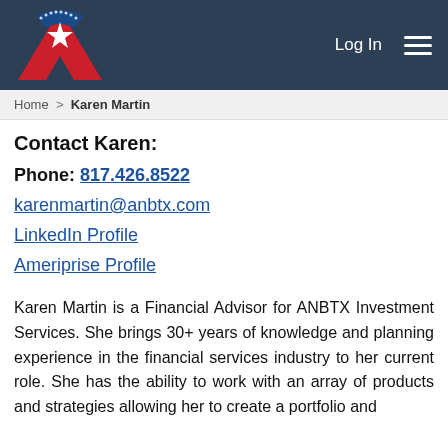Log In  [menu]
Home > Karen Martin
Contact Karen:
Phone: 817.426.8522
karenmartin@anbtx.com
LinkedIn Profile
Ameriprise Profile
Karen Martin is a Financial Advisor for ANBTX Investment Services. She brings 30+ years of knowledge and planning experience in the financial services industry to her current role. She has the ability to work with an array of products and strategies allowing her to create a portfolio and